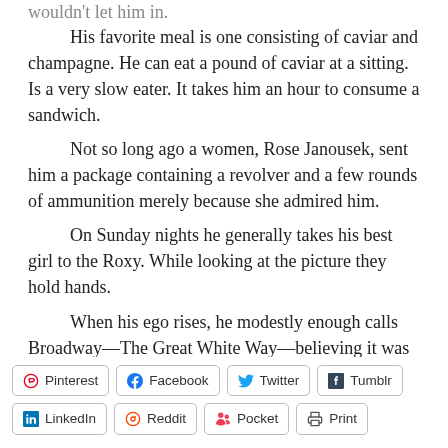wouldn't let him in.
His favorite meal is one consisting of caviar and champagne. He can eat a pound of caviar at a sitting. Is a very slow eater. It takes him an hour to consume a sandwich.
Not so long ago a women, Rose Janousek, sent him a package containing a revolver and a few rounds of ammunition merely because she admired him.
On Sunday nights he generally takes his best girl to the Roxy. While looking at the picture they hold hands.
When his ego rises, he modestly enough calls Broadway—The Great White Way—believing it was named after him.
[Figure (other): Social sharing buttons row 1: Pinterest, Facebook, Twitter, Tumblr]
[Figure (other): Social sharing buttons row 2: LinkedIn, Reddit, Pocket, Print]